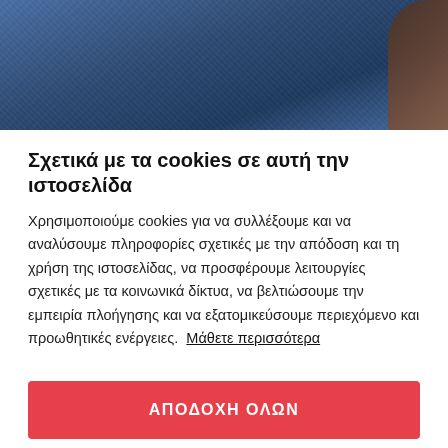[Figure (photo): Blue fabric/clothing texture with a dark-skinned arm visible at the right edge]
Σχετικά με τα cookies σε αυτή την ιστοσελίδα
Χρησιμοποιούμε cookies για να συλλέξουμε και να αναλύσουμε πληροφορίες σχετικές με την απόδοση και τη χρήση της ιστοσελίδας, να προσφέρουμε λειτουργίες σχετικές με τα κοινωνικά δίκτυα, να βελτιώσουμε την εμπειρία πλοήγησης και να εξατομικεύσουμε περιεχόμενο και προωθητικές ενέργειες. Μάθετε περισσότερα
ΑΠΟΔΟΧΗ ΟΛΩΝ
ΡΥΘΜΙΣΕΙΣ